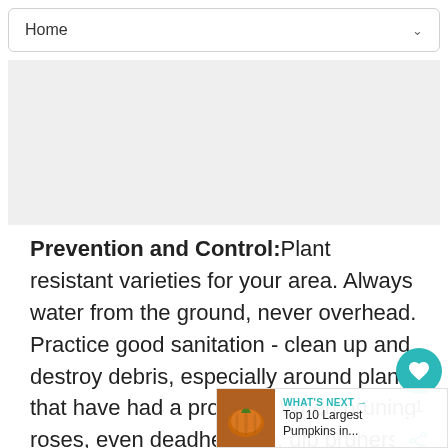Home
[Figure (other): Advertisement placeholder area (gray background)]
Prevention and Control: Plant resistant varieties for your area. Always water from the ground, never overhead. Practice good sanitation - clean up and destroy debris, especially around plants that have had a problem. When pruning roses, even deadheading, dip pruners in a bleach solution after each cut. If a plant seems to have chronic black spot, remove it. A 2-3 inch
[Figure (infographic): WHAT'S NEXT banner showing 'Top 10 Largest Pumpkins in...' with a pumpkin thumbnail image]